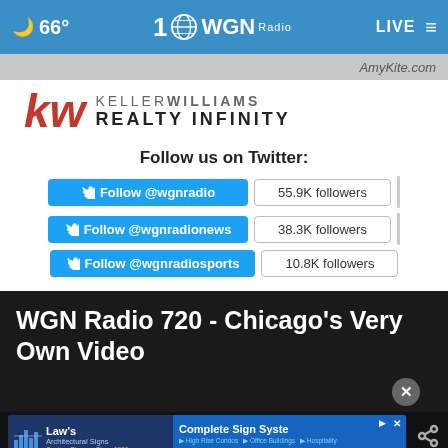66° WGN Radio LIVE
[Figure (screenshot): Partial ad strip showing AmyKite.com URL]
[Figure (logo): Keller Williams Realty Infinity logo with red KW letters]
Follow us on Twitter:
Follow @wgnradio  55.9K followers
Follow @wgnradionews  38.3K followers
Follow @wgnradiosports  10.8K followers
WGN Radio 720 - Chicago's Very Own Video
[Figure (screenshot): Bottom advertisement banner: Law's Architectural Signs and Complete Sign Systems ad with phone number 305-871-6565]